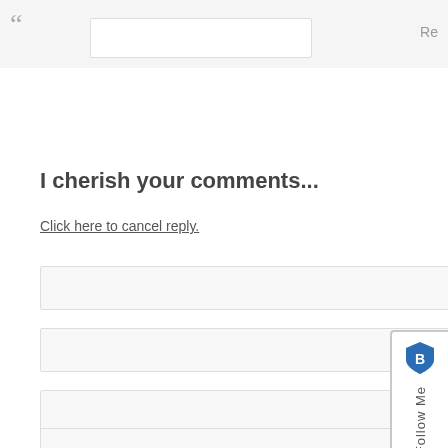“ Re
I cherish your comments...
Click here to cancel reply.
Name (required)
Mail (will not be published) (required)
Website
[Figure (other): Follow Me widget with shield icon on right side of page]